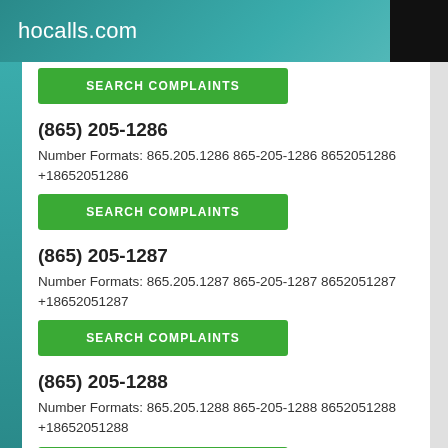hocalls.com
(865) 205-1286
Number Formats: 865.205.1286 865-205-1286 8652051286 +18652051286
SEARCH COMPLAINTS
(865) 205-1287
Number Formats: 865.205.1287 865-205-1287 8652051287 +18652051287
SEARCH COMPLAINTS
(865) 205-1288
Number Formats: 865.205.1288 865-205-1288 8652051288 +18652051288
SEARCH COMPLAINTS